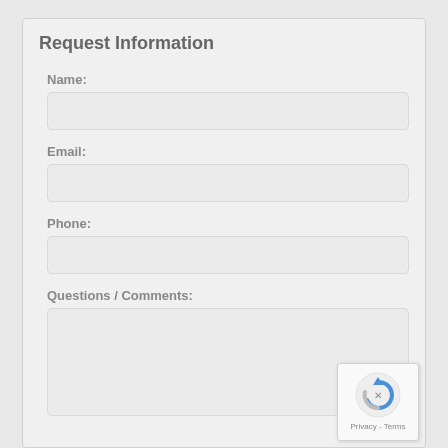Request Information
Name:
Email:
Phone:
Questions / Comments:
[Figure (other): reCAPTCHA badge with logo and Privacy - Terms text]